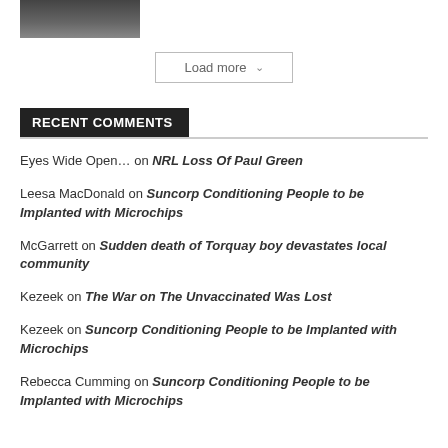[Figure (photo): Partial photo of a person in a dark suit and tie, cropped at the top of the page]
Load more ∨
RECENT COMMENTS
Eyes Wide Open… on NRL Loss Of Paul Green
Leesa MacDonald on Suncorp Conditioning People to be Implanted with Microchips
McGarrett on Sudden death of Torquay boy devastates local community
Kezeek on The War on The Unvaccinated Was Lost
Kezeek on Suncorp Conditioning People to be Implanted with Microchips
Rebecca Cumming on Suncorp Conditioning People to be Implanted with Microchips